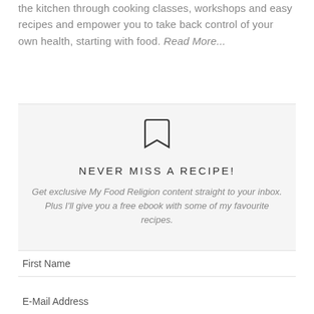the kitchen through cooking classes, workshops and easy recipes and empower you to take back control of your own health, starting with food. Read More...
[Figure (illustration): Bookmark icon (outline of a ribbon bookmark)]
NEVER MISS A RECIPE!
Get exclusive My Food Religion content straight to your inbox. Plus I'll give you a free ebook with some of my favourite recipes.
First Name
E-Mail Address